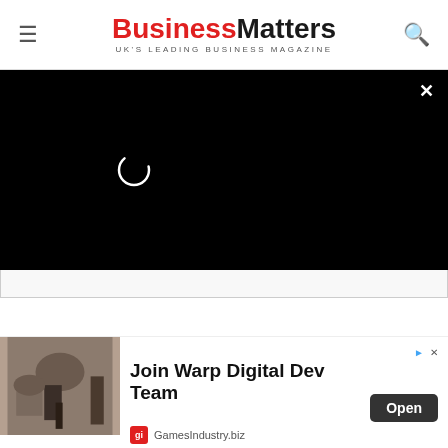Business Matters — UK'S LEADING BUSINESS MAGAZINE
[Figure (screenshot): Black video player area with loading spinner and close X button]
Comments for this thread are now closed
[Figure (infographic): Advertisement: Join Warp Digital Dev Team — GamesIndustry.biz with Open button]